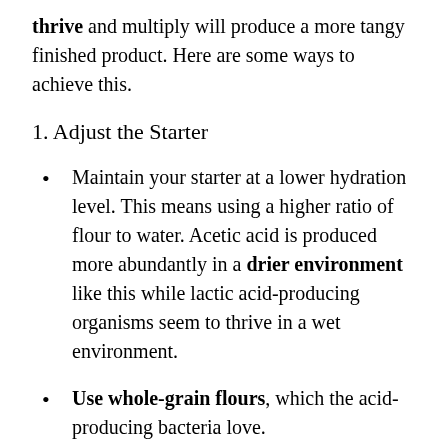thrive and multiply will produce a more tangy finished product. Here are some ways to achieve this.
1. Adjust the Starter
Maintain your starter at a lower hydration level. This means using a higher ratio of flour to water. Acetic acid is produced more abundantly in a drier environment like this while lactic acid-producing organisms seem to thrive in a wet environment.
Use whole-grain flours, which the acid-producing bacteria love.